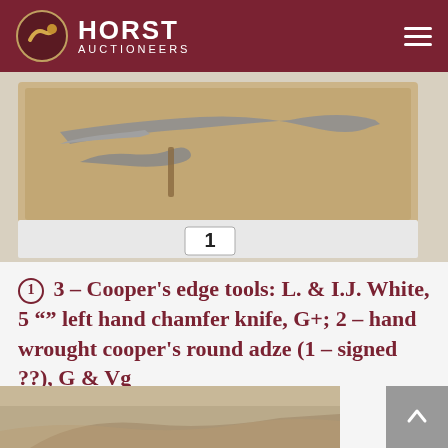HORST AUCTIONEERS
[Figure (photo): Photograph of cooper's edge tools including a chamfer knife and round adze, shown in a wooden box with a number 1 placard.]
① 3 – Cooper's edge tools: L. & I.J. White, 5 "" left hand chamfer knife, G+; 2 – hand wrought cooper's round adze (1 – signed ??), G & Vg
· $140.00
[Figure (photo): Partial photograph of another auction lot at the bottom of the page.]